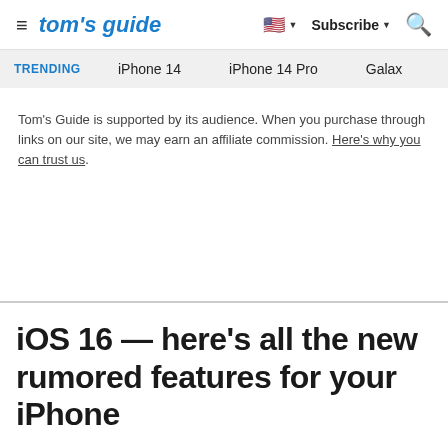tom's guide | Subscribe | Search
TRENDING   iPhone 14   iPhone 14 Pro   Galaxy
Tom's Guide is supported by its audience. When you purchase through links on our site, we may earn an affiliate commission. Here's why you can trust us.
iOS 16 — here's all the new rumored features for your iPhone